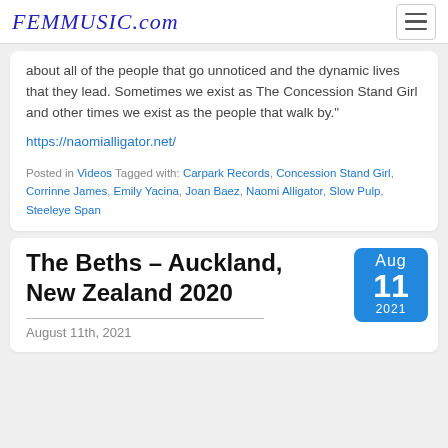FEMMUSIC.com
about all of the people that go unnoticed and the dynamic lives that they lead. Sometimes we exist as The Concession Stand Girl and other times we exist as the people that walk by."
https://naomialligator.net/
Posted in Videos Tagged with: Carpark Records, Concession Stand Girl, Corrinne James, Emily Yacina, Joan Baez, Naomi Alligator, Slow Pulp, Steeleye Span
The Beths – Auckland, New Zealand 2020
August 11th, 2021